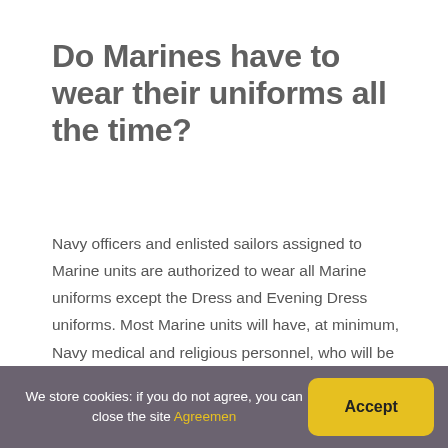Do Marines have to wear their uniforms all the time?
Navy officers and enlisted sailors assigned to Marine units are authorized to wear all Marine uniforms except the Dress and Evening Dress uniforms. Most Marine units will have, at minimum, Navy medical and religious personnel, who will be issued and required to wear the MCCUU; wear of other Marine uniforms is optional.
How often do Marines get
We store cookies: if you do not agree, you can close the site Agreemen Accept